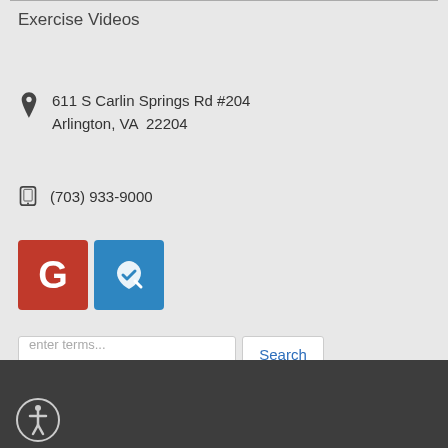Exercise Videos
611 S Carlin Springs Rd #204
Arlington, VA  22204
(703) 933-9000
[Figure (logo): Google G icon (red background) and a health/checkup icon (blue background)]
enter terms...
Search
Powered by ChiroHosting ©2022
Accessibility / Copyright / Privacy / Disclaimer